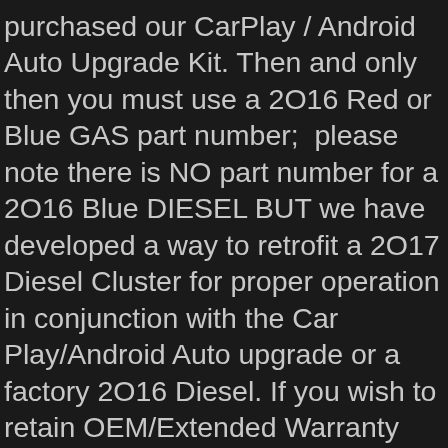purchased our CarPlay / Android Auto Upgrade Kit. Then and only then you must use a 2016 Red or Blue GAS part number;  please note there is NO part number for a 2016 Blue DIESEL BUT we have developed a way to retrofit a 2017 Diesel Cluster for proper operation in conjunction with the Car Play/Android Auto upgrade or a factory 2016 Diesel. If you wish to retain OEM/Extended Warranty compliance you will need to choose to have us supply the proper brand new unit by purchasing the retrofit kit found HERE (which has its own additional warranty as well!) After confirming proper fitment using the fitment matrix (or just simply choose to have us supply the unit) you then place an order (please pay attention to the cluster condition option(s)!) and follow